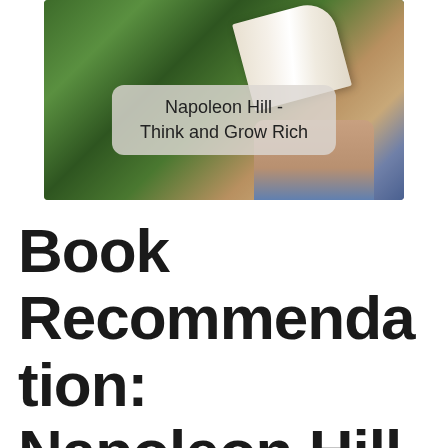[Figure (photo): Person holding an open book outdoors with green foliage background. Overlaid text label reads 'Napoleon Hill - Think and Grow Rich' on a semi-transparent rounded rectangle.]
Book Recommendation: Napoleon Hill – Think and grow rich